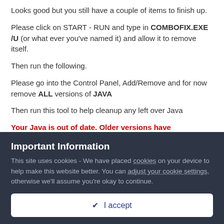Looks good but you still have a couple of items to finish up.
Please click on START - RUN and type in COMBOFIX.EXE /U (or what ever you've named it) and allow it to remove itself.
Then run the following.
Please go into the Control Panel, Add/Remove and for now remove ALL versions of JAVA
Then run this tool to help cleanup any left over Java
Your Java is out of date. Older versions have vulnerabilities that malware can use to infect your system.
Important Information
This site uses cookies - We have placed cookies on your device to help make this website better. You can adjust your cookie settings, otherwise we'll assume you're okay to continue.
✔ I accept